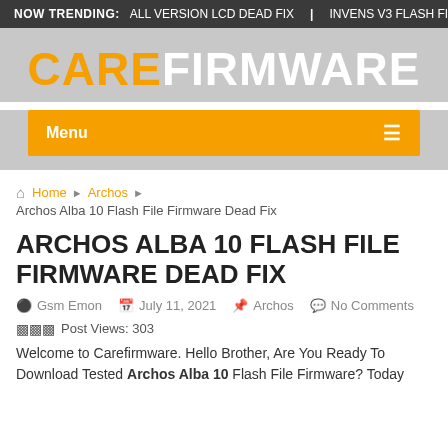NOW TRENDING: ALL VERSION LCD DEAD FIX | INVENS V3 FLASH FILE
[Figure (logo): CAREFIRMWARE logo with CARE in orange and FIRMWARE in white on gray background]
Menu ≡
🏠 Home ▶ Archos ▶ Archos Alba 10 Flash File Firmware Dead Fix
ARCHOS ALBA 10 FLASH FILE FIRMWARE DEAD FIX
👤 Gsm Emon  📅 July 11, 2021  🏷 Archos  💬 No Comments
Post Views: 303
Welcome to Carefirmware. Hello Brother, Are You Ready To Download Tested Archos Alba 10 Flash File Firmware? Today